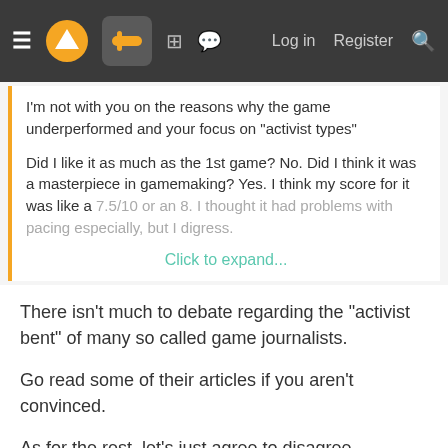Log in  Register
I'm not with you on the reasons why the game underperformed and your focus on "activist types"

Did I like it as much as the 1st game? No. Did I think it was a masterpiece in gamemaking? Yes. I think my score for it was like a 7.5/10 or an 8. I thought it had problems with pacing especially, but I digress.

Click to expand...
There isn't much to debate regarding the "activist bent" of many so called game journalists.

Go read some of their articles if you aren't convinced.

As for the rest, let's just agree to disagree.
Sosokrates
Member